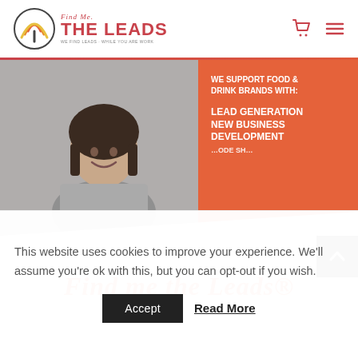[Figure (logo): Find Me The Leads logo with circular fork/wifi icon in dark gray and red/orange colors, with text 'Find Me THE LEADS' in red/coral]
[Figure (photo): Hero image: woman smiling in gray top standing in front of an orange/coral banner that reads 'WE SUPPORT FOOD & DRINK BRANDS WITH: LEAD GENERATION NEW BUSINESS DEVELOPMENT ...']
Find me the Leads®
This website uses cookies to improve your experience. We'll assume you're ok with this, but you can opt-out if you wish.
Accept
Read More